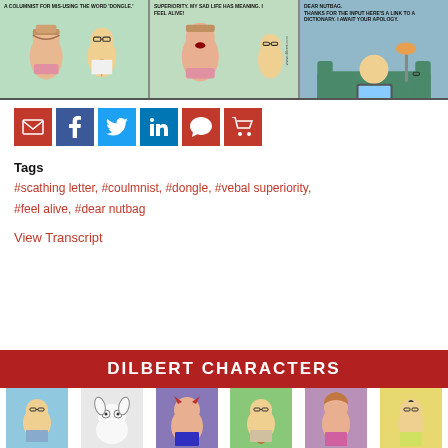[Figure (illustration): Three-panel Dilbert comic strip. Panel 1 (green background): Two characters, text 'A COLUMNIST FOR MISUSING THE WORD DONGLE.' Panel 2 (green background): Character shouting, text 'SUPERIORITY. MY SAD LIFE HAS MEANING. I FEEL ALIVE!' Panel 3 (blue/teal background): Character at computer, text 'DEAR NUTBAG. THANKS FOR THE INPUT HERE'S A LINK TO A DICTIONARY. I AWAIT YOUR APOLOGY.']
[Figure (infographic): Row of social sharing buttons: Email (red), Facebook (dark blue), Twitter (light blue), LinkedIn (blue), Comment (red), Cart (red)]
Tags
#scathing letter, #coulmnist, #dongle, #vebal superiority, #feel alive, #dear nutbag
View Transcript
DILBERT CHARACTERS
[Figure (illustration): Row of six Dilbert character portrait thumbnails: Dilbert (blue background), Dogbert (white/gray background), Boss/Devil (purple background), Wally (green background), Alice (purple/pink background), and another character (yellow background)]